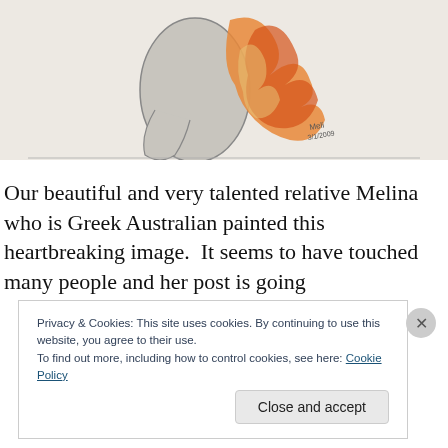[Figure (illustration): A pencil and watercolor illustration showing a human arm or torso with orange and red flame-like colors emerging from the right side, on a white/light background. Appears to be signed with a name and date in the lower right.]
Our beautiful and very talented relative Melina who is Greek Australian painted this heartbreaking image.  It seems to have touched many people and her post is going
Privacy & Cookies: This site uses cookies. By continuing to use this website, you agree to their use.
To find out more, including how to control cookies, see here: Cookie Policy
Close and accept